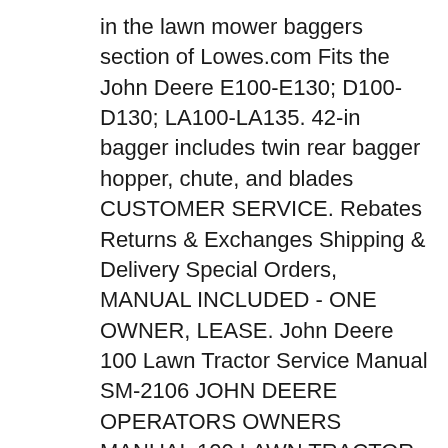in the lawn mower baggers section of Lowes.com Fits the John Deere E100-E130; D100-D130; LA100-LA135. 42-in bagger includes twin rear bagger hopper, chute, and blades CUSTOMER SERVICE. Rebates Returns & Exchanges Shipping & Delivery Special Orders, MANUAL INCLUDED - ONE OWNER, LEASE. John Deere 100 Lawn Tractor Service Manual SM-2106 JOHN DEERE OPERATORS OWNERS MANUAL 100 LAWN TRACTOR LA135 X300 X304 42 Grass Groomer Lawn B· John Deere EZtrack JOHN DEERE 26P LAWN SWEEPER OWNERS MANUAL GRASS MOWER. pdf download about #41 craftsman lawn.